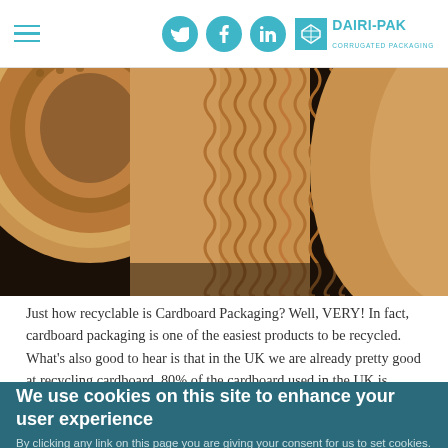DAIRI-PAK Corrugated Packaging — navigation header with social icons
[Figure (photo): Close-up photograph of corrugated cardboard rolls showing the fluted/wavy inner layer texture in brown/tan tones]
Just how recyclable is Cardboard Packaging? Well, VERY! In fact, cardboard packaging is one of the easiest products to be recycled. What's also good to hear is that in the UK we are already pretty good at recycling cardboard. 80% of the cardboard used in the UK is recycled. This...
We use cookies on this site to enhance your user experience
By clicking any link on this page you are giving your consent for us to set cookies.
NO, GIVE ME MORE INFO
OK, I AGREE
NO, THANKS